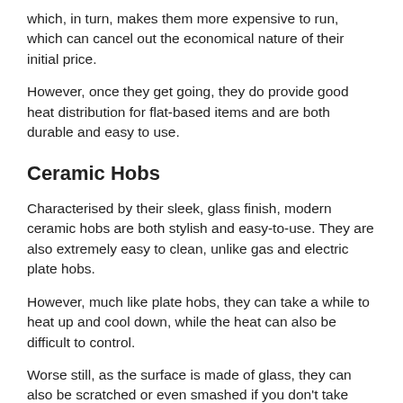which, in turn, makes them more expensive to run, which can cancel out the economical nature of their initial price.
However, once they get going, they do provide good heat distribution for flat-based items and are both durable and easy to use.
Ceramic Hobs
Characterised by their sleek, glass finish, modern ceramic hobs are both stylish and easy-to-use. They are also extremely easy to clean, unlike gas and electric plate hobs.
However, much like plate hobs, they can take a while to heat up and cool down, while the heat can also be difficult to control.
Worse still, as the surface is made of glass, they can also be scratched or even smashed if you don't take care. As such, they're probably not the best choice for the heavy-handed.